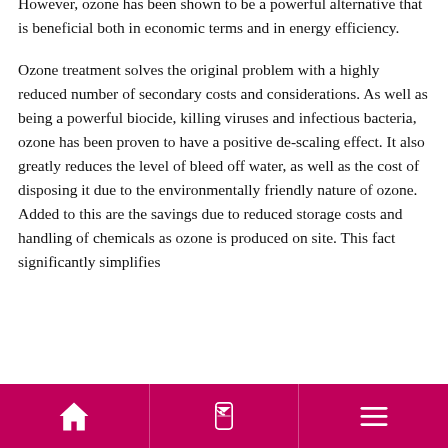However, ozone has been shown to be a powerful alternative that is beneficial both in economic terms and in energy efficiency.
Ozone treatment solves the original problem with a highly reduced number of secondary costs and considerations. As well as being a powerful biocide, killing viruses and infectious bacteria, ozone has been proven to have a positive de-scaling effect. It also greatly reduces the level of bleed off water, as well as the cost of disposing it due to the environmentally friendly nature of ozone. Added to this are the savings due to reduced storage costs and handling of chemicals as ozone is produced on site. This fact significantly simplifies
[home icon] [contact icon] [menu icon]